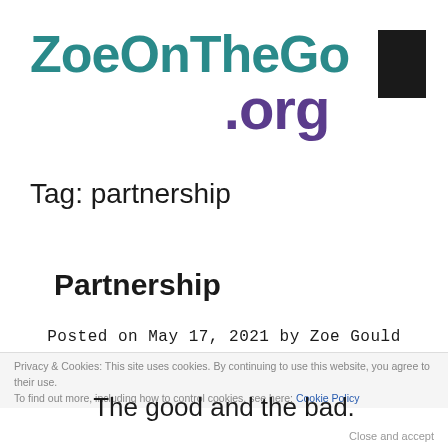ZoeOnTheGo.org
[Figure (other): Black rectangle in top right corner, decorative element]
Tag: partnership
Partnership
Posted on May 17, 2021 by Zoe Gould
Privacy & Cookies: This site uses cookies. By continuing to use this website, you agree to their use.
To find out more, including how to control cookies, see here: Cookie Policy
The good and the bad.
Close and accept